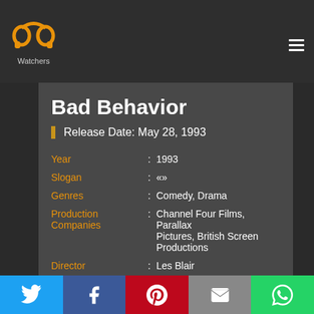[Figure (logo): PP Watchers logo — two orange headphone-like symbols above the text 'Watchers']
Bad Behavior — Release Date: May 28, 1993
Bad Behavior
Release Date: May 28, 1993
| Field | : | Value |
| --- | --- | --- |
| Year | : | 1993 |
| Slogan | : | «» |
| Genres | : | Comedy, Drama |
| Production Companies | : | Channel Four Films, Parallax Pictures, British Screen Productions |
| Director | : | Les Blair |
| Producers | : | Gail Stevens, Sarah Curtis |
| Writers | : | Les Blair |
[Figure (infographic): Social sharing bar with Twitter, Facebook, Pinterest, Email, and WhatsApp buttons]